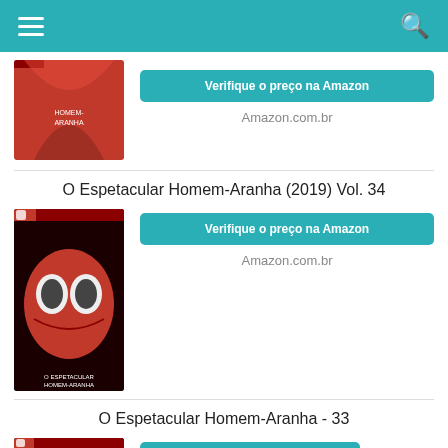Navigation bar with menu and search
[Figure (screenshot): Comic book cover for O Espetacular Homem-Aranha (partial top)]
Verifique o preço na Amazon
Amazon.com.br
O Espetacular Homem-Aranha (2019) Vol. 34
[Figure (screenshot): Comic book cover for O Espetacular Homem-Aranha (2019) Vol. 34 showing Spider-Man's eyes closeup]
Verifique o preço na Amazon
Amazon.com.br
O Espetacular Homem-Aranha - 33
[Figure (screenshot): Comic book cover for O Espetacular Homem-Aranha - 33]
Verifique o preço na Amazon
Amazon.com.br